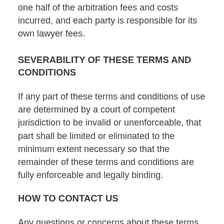one half of the arbitration fees and costs incurred, and each party is responsible for its own lawyer fees.
SEVERABILITY OF THESE TERMS AND CONDITIONS
If any part of these terms and conditions of use are determined by a court of competent jurisdiction to be invalid or unenforceable, that part shall be limited or eliminated to the minimum extent necessary so that the remainder of these terms and conditions are fully enforceable and legally binding.
HOW TO CONTACT US
Any questions or concerns about these terms and conditions of use should be brought to our attention by e-mail to
https://www.tedswoodworking.com/support